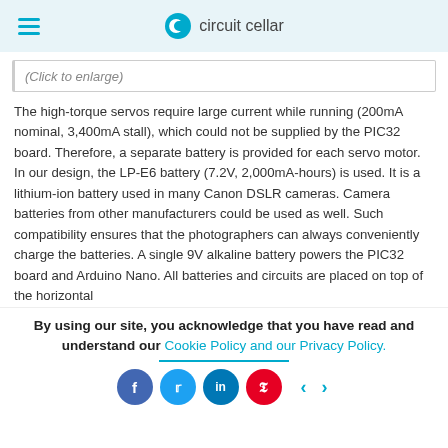circuit cellar
(Click to enlarge)
The high-torque servos require large current while running (200mA nominal, 3,400mA stall), which could not be supplied by the PIC32 board. Therefore, a separate battery is provided for each servo motor. In our design, the LP-E6 battery (7.2V, 2,000mA-hours) is used. It is a lithium-ion battery used in many Canon DSLR cameras. Camera batteries from other manufacturers could be used as well. Such compatibility ensures that the photographers can always conveniently charge the batteries. A single 9V alkaline battery powers the PIC32 board and Arduino Nano. All batteries and circuits are placed on top of the horizontal
By using our site, you acknowledge that you have read and understand our Cookie Policy and our Privacy Policy.